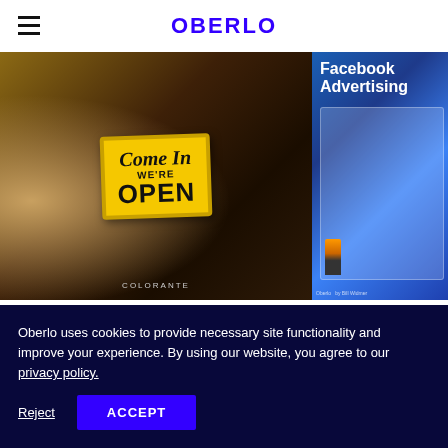OBERLO
[Figure (photo): Photo of a store with a yellow 'Come In WE'RE OPEN' sign, food and dark restaurant background. Colorante label at bottom.]
[Figure (illustration): Blue book/ebook cover for 'Facebook Advertising' with a person figure and screen graphic, Oberlo branding.]
HOME / EBOOKS / THE DEFINITIVE GUIDE TO FACEBOOK ADVERTISING
Oberlo uses cookies to provide necessary site functionality and improve your experience. By using our website, you agree to our privacy policy.
Reject
ACCEPT